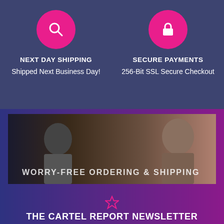[Figure (infographic): Magenta circle with white search/magnifying glass icon]
NEXT DAY SHIPPING
Shipped Next Business Day!
[Figure (infographic): Magenta circle with white padlock icon]
SECURE PAYMENTS
256-Bit SSL Secure Checkout
[Figure (photo): Banner image showing a man and woman, with text overlay: WORRY-FREE ORDERING & SHIPPING]
THE CARTEL REPORT NEWSLETTER